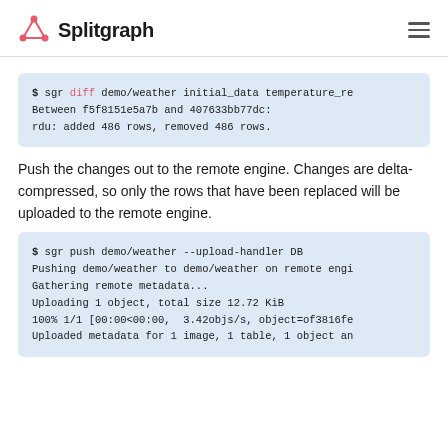Splitgraph
$ sgr diff demo/weather initial_data temperature_re
Between f5f8151e5a7b and 407633bb77dc:
rdu: added 486 rows, removed 486 rows.
Push the changes out to the remote engine. Changes are delta-compressed, so only the rows that have been replaced will be uploaded to the remote engine.
$ sgr push demo/weather --upload-handler DB
Pushing demo/weather to demo/weather on remote engi
Gathering remote metadata...
Uploading 1 object, total size 12.72 KiB
100% 1/1 [00:00<00:00,  3.42objs/s, object=of3816fe
Uploaded metadata for 1 image, 1 table, 1 object an